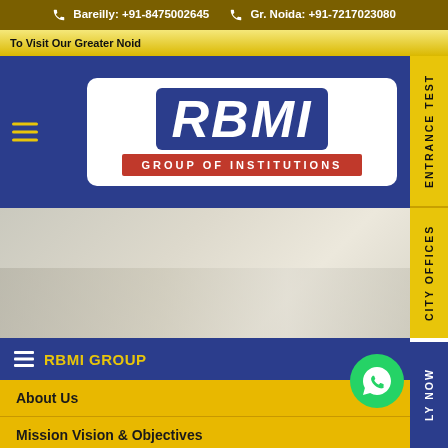Bareilly: +91-8475002645   Gr. Noida: +91-7217023080
To Visit Our Greater Noid...
[Figure (logo): RBMI Group of Institutions logo — blue background with white italic bold RBMI text and red banner reading GROUP OF INSTITUTIONS]
ENTRANCE TEST
[Figure (photo): Campus building photo — wintry or light-toned building silhouette]
CITY OFFICES
LY NOW
🎓 RBMI GROUP
About Us
Mission Vision & Objectives
Our Founder
Message from Managing Director